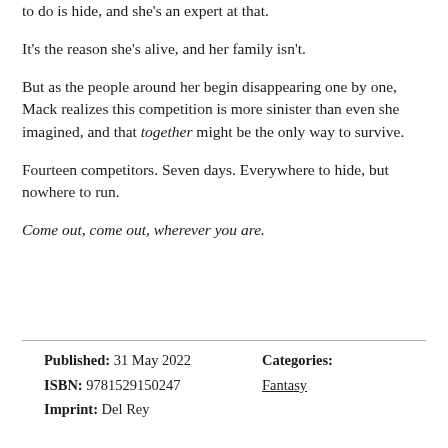to do is hide, and she's an expert at that.
It's the reason she's alive, and her family isn't.
But as the people around her begin disappearing one by one, Mack realizes this competition is more sinister than even she imagined, and that together might be the only way to survive.
Fourteen competitors. Seven days. Everywhere to hide, but nowhere to run.
Come out, come out, wherever you are.
Published: 31 May 2022
ISBN: 9781529150247
Imprint: Del Rey
Categories:
Fantasy